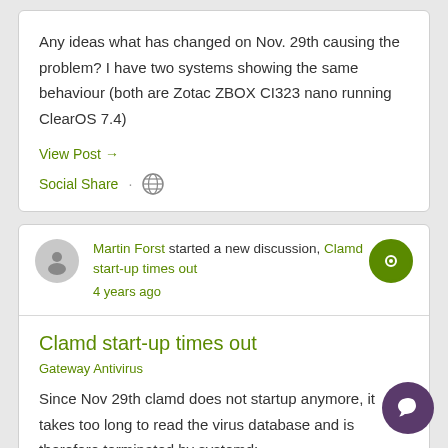Any ideas what has changed on Nov. 29th causing the problem? I have two systems showing the same behaviour (both are Zotac ZBOX CI323 nano running ClearOS 7.4)
View Post →
Social Share
Martin Forst started a new discussion, Clamd start-up times out
4 years ago
Clamd start-up times out
Gateway Antivirus
Since Nov 29th clamd does not startup anymore, it takes too long to read the virus database and is therefore terminated by systemd: